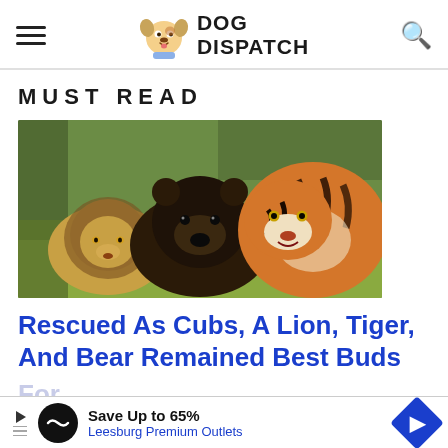DOG DISPATCH
MUST READ
[Figure (photo): A lion, a black bear, and a tiger huddled together heads down on grass in an outdoor enclosure]
Rescued As Cubs, A Lion, Tiger, And Bear Remained Best Buds For...
Save Up to 65% Leesburg Premium Outlets